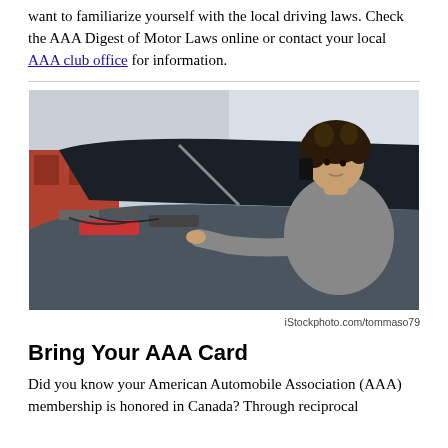want to familiarize yourself with the local driving laws. Check the AAA Digest of Motor Laws online or contact your local AAA club office for information.
[Figure (photo): Woman with curly hair leaning over an open car hood, looking at the engine while talking on the phone. Photo credit: iStockphoto.com/tommaso79]
iStockphoto.com/tommaso79
Bring Your AAA Card
Did you know your American Automobile Association (AAA) membership is honored in Canada? Through reciprocal